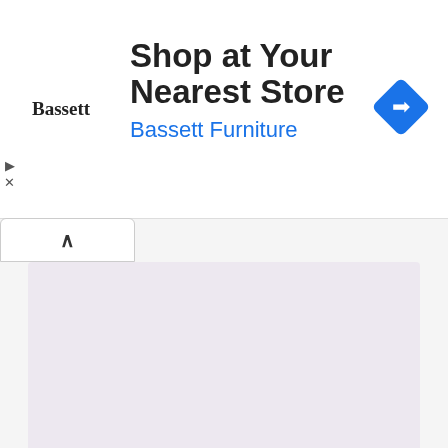[Figure (infographic): Bassett Furniture advertisement banner. Shows Bassett logo on left, 'Shop at Your Nearest Store' heading in bold black, 'Bassett Furniture' subtitle in blue, and a blue diamond-shaped navigation icon on the right. Small play and X controls on far left bottom.]
[Figure (screenshot): A collapse/accordion tab with an upward caret (^) symbol, white background with light border, positioned below the ad.]
[Figure (screenshot): Light purple/lavender content area with a purple 'Buy me a pizza' button with heart icon showing count 0.]
Comments
ALSO ON CODETONIGHT
[Figure (photo): Partially visible thumbnail image showing blurred red and black elements, left preview card.]
[Figure (photo): Partially visible thumbnail image showing blurred red and black elements, right preview card.]